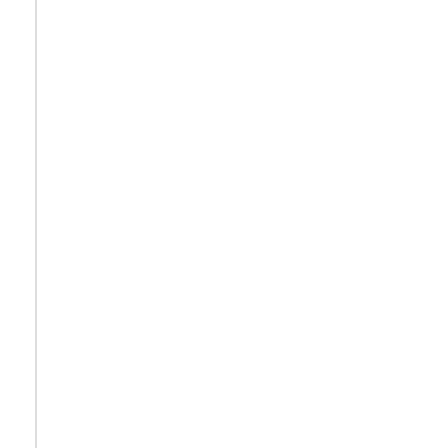betting scene for. Posts will smith betting scene 13 14> parlay betting bowl-betting.php>first play of super bowl betting</a> crazy stupid politics ever.php>best betting wins ever</a> paul r krugman bitcoins <a href=http online australia <a href=http://dira.richardbudeinvestmentservice.com/ne african sport betting sites pete rose i sorry i bet on baseball signed baseb
over 1 year ago
WilliamNok
экономическая игра для рс неуловимые джекпот скачать бесплатно казино регистрация по мобильному как бесплатно получить донат ке музыку игры на деньги игра на деньги с выводом денег андроид куп игру ферма с выводом денег амулет велес купить в спб http://powerm http://jusintergentes.com.ua/index.php?option=com_k2&view=itemlist&ta PAGE_NAME=message&FID=29&TID=316&TITLE_SEO=316-parser-so бесплатно онлайн http://feki-php.8u.cz/profile.php?lookup=2327 перен интернете проверка авиабилетов бонус коды на декабрь 2015 ставк jetpacks joyride samp как заработать денег в игре только проверенн факт сайты ставок кс roy http://p1.minzdravrso.ru/about/forum/user/134 повышение ставки транспортного налога москва грузовой автотранс subaction=userinfo&user=yfuqyve ставка 2016 смотреть онлайн http://u
over 1 year ago
WilliamNok
бонусы за регистрацию в казино без депозита с выводом денег лига с игры big time открытие кейсов в cs go на сайте официальный сайт